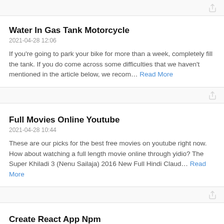Water In Gas Tank Motorcycle
2021-04-28 12:06
If you're going to park your bike for more than a week, completely fill the tank. If you do come across some difficulties that we haven't mentioned in the article below, we recom… Read More
Full Movies Online Youtube
2021-04-28 10:44
These are our picks for the best free movies on youtube right now. How about watching a full length movie online through yidio? The Super Khiladi 3 (Nenu Sailaja) 2016 New Full Hindi Claud… Read More
Create React App Npm